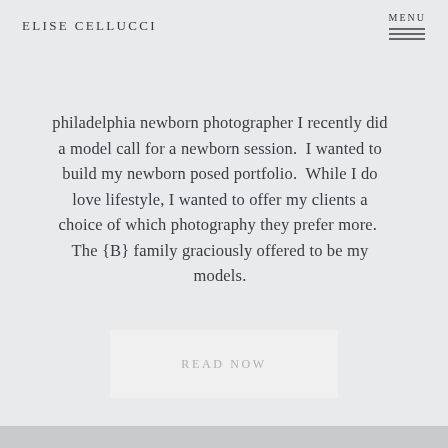ELISE CELLUCCI
philadelphia newborn photographer I recently did a model call for a newborn session.  I wanted to build my newborn posed portfolio.  While I do love lifestyle, I wanted to offer my clients a choice of which photography they prefer more.  The {B} family graciously offered to be my models.
READ NOW